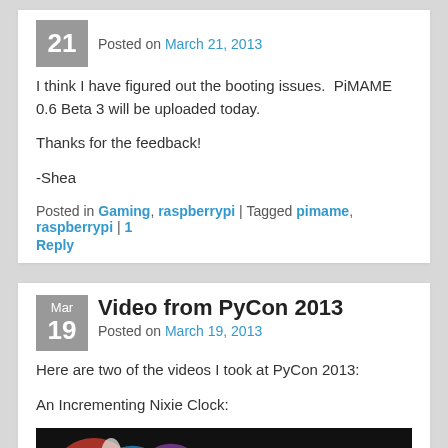21 | Posted on March 21, 2013
I think I have figured out the booting issues.  PiMAME 0.6 Beta 3 will be uploaded today.
Thanks for the feedback!
-Shea
Posted in Gaming, raspberrypi | Tagged pimame, raspberrypi | 1 Reply
Video from PyCon 2013
Posted on March 19, 2013
Here are two of the videos I took at PyCon 2013:
An Incrementing Nixie Clock:
[Figure (photo): Video thumbnail showing colorful shapes on dark background]